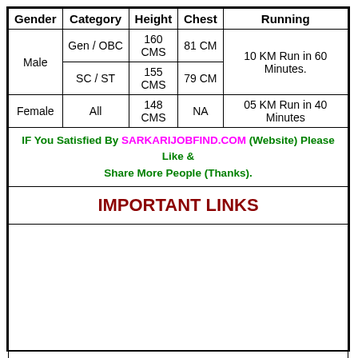| Gender | Category | Height | Chest | Running |
| --- | --- | --- | --- | --- |
| Male | Gen / OBC | 160 CMS | 81 CM | 10 KM Run in 60 Minutes. |
|  | SC / ST | 155 CMS | 79 CM |  |
| Female | All | 148 CMS | NA | 05 KM Run in 40 Minutes |
IF You Satisfied By SARKARIJOBFIND.COM (Website) Please Like & Share More People (Thanks).
IMPORTANT LINKS